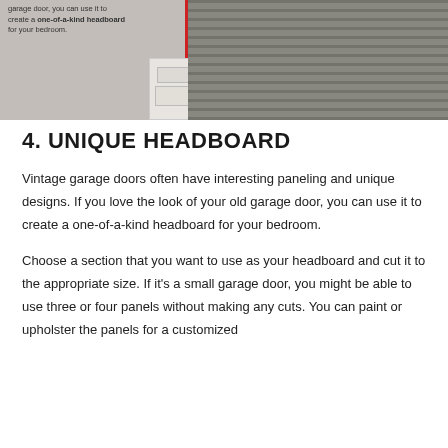[Figure (photo): Bedroom scene showing a bed with patterned bedding and a white nightstand, with overlay text referencing a one-of-a-kind headboard for your bedroom. A red vertical line is visible.]
4. UNIQUE HEADBOARD
Vintage garage doors often have interesting paneling and unique designs. If you love the look of your old garage door, you can use it to create a one-of-a-kind headboard for your bedroom.
Choose a section that you want to use as your headboard and cut it to the appropriate size. If it's a small garage door, you might be able to use three or four panels without making any cuts. You can paint or upholster the panels for a customized